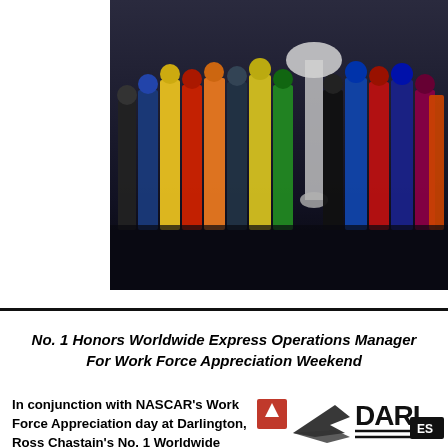[Figure (photo): Group photo of NASCAR drivers in racing suits standing together, with a large trophy visible in the background, on a dark stage/background]
No. 1 Honors Worldwide Express Operations Manager For Work Force Appreciation Weekend
In conjunction with NASCAR's Work Force Appreciation day at Darlington, Ross Chastain's No. 1 Worldwide
[Figure (logo): Darlington Raceway logo with orange square, stylized bird/wing graphic, and DARL text with ES badge]